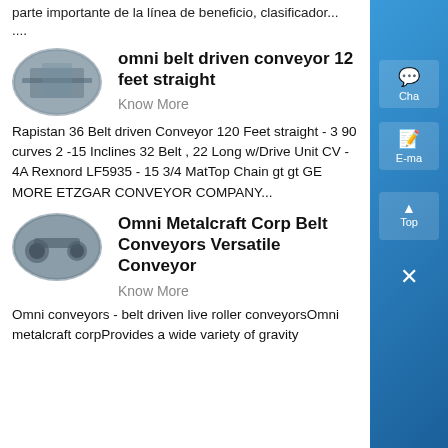parte importante de la línea de beneficio, clasificador....
[Figure (photo): Oval-shaped photo of conveyor belt machinery in an industrial setting]
omni belt driven conveyor 12 feet straight
Know More
Rapistan 36 Belt driven Conveyor 120 Feet straight - 3 90 curves 2 -15 Inclines 32 Belt , 22 Long w/Drive Unit CV - 4A Rexnord LF5935 - 15 3/4 MatTop Chain gt gt GE MORE ETZGAR CONVEYOR COMPANY...
[Figure (photo): Oval-shaped photo of belt conveyor machinery]
Omni Metalcraft Corp Belt Conveyors Versatile Conveyor
Know More
Omni conveyors - belt driven live roller conveyorsOmni metalcraft corpProvides a wide variety of gravity conveyor...